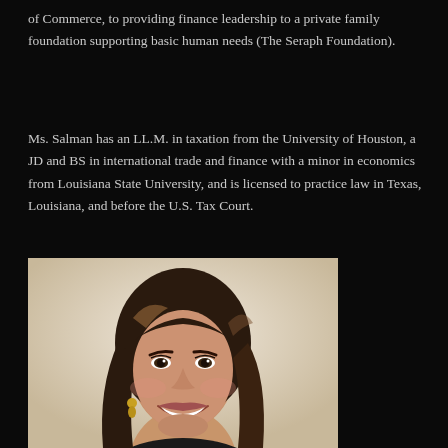of Commerce, to providing finance leadership to a private family foundation supporting basic human needs (The Seraph Foundation).
Ms. Salman has an LL.M. in taxation from the University of Houston, a JD and BS in international trade and finance with a minor in economics from Louisiana State University, and is licensed to practice law in Texas, Louisiana, and before the U.S. Tax Court.
[Figure (photo): Professional headshot portrait of Ms. Salman, a woman with long dark brown hair with highlights, smiling, wearing dark clothing and gold earrings, against a light beige/cream background.]